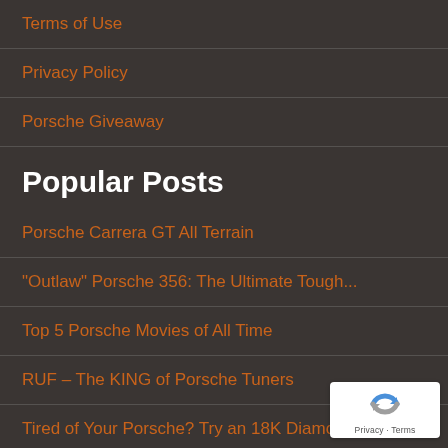Terms of Use
Privacy Policy
Porsche Giveaway
Popular Posts
Porsche Carrera GT All Terrain
“Outlaw” Porsche 356: The Ultimate Tough...
Top 5 Porsche Movies of All Time
RUF – The KING of Porsche Tuners
Tired of Your Porsche? Try an 18K Diamon...
Mansory – Learn from the Swiss
[Figure (logo): reCAPTCHA badge with spinning arrows logo and 'Privacy - Terms' text on white background]